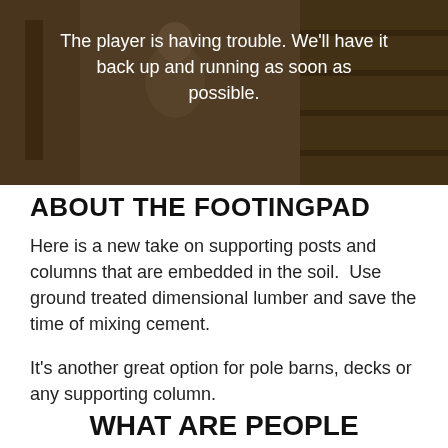[Figure (photo): Video player banner showing a person in a workshop/shed setting, with a dark overlay and error message text centered on the image.]
The player is having trouble. We'll have it back up and running as soon as possible.
ABOUT THE FOOTINGPAD
Here is a new take on supporting posts and columns that are embedded in the soil.  Use ground treated dimensional lumber and save the time of mixing cement.
It's another great option for pole barns, decks or any supporting column.
WHAT ARE PEOPLE